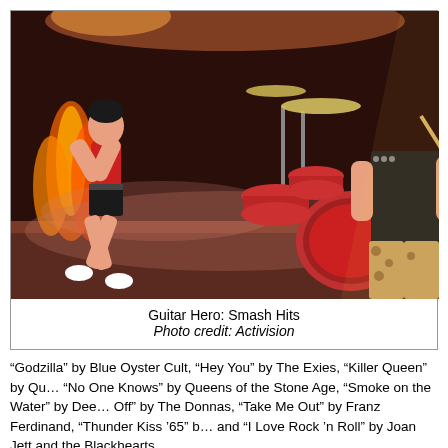[Figure (photo): Screenshot from Guitar Hero: Smash Hits video game showing animated rock band characters on stage with drums, fire effects, and performers in concert setting]
Guitar Hero: Smash Hits
Photo credit: Activision
“Godzilla” by Blue Oyster Cult, “Hey You” by The Exies, “Killer Queen” by Qu… “No One Knows” by Queens of the Stone Age, “Smoke on the Water” by Dee… Off” by The Donnas, “Take Me Out” by Franz Ferdinand, “Thunder Kiss ’65” b… and “I Love Rock ’n Roll” by Joan Jett and the Blackhearts.
Songs from “Guitar Hero II” - “Beast and the Harlot” by Avenged Sevenfold, “… “Cherry Pie” by Warrant, “Free Bird” by Lynyrd Skynyrd, “Freya” by The Swo… “Killing in the Name” by Rage Against the Machine, “Laid to Rest” by Lamb o… Police, “Monkey Wrench” by Foo Fighters, “Mother” by Danzig, “Psychobilly … “Shout at the Devil” by Motley Crue, “Stop!” by Jane's Addiction, “Them Bone… Hole in a Paper Heart” by Stone Temple Pilots, “The Trooper” by Iron Maiden… Rush.